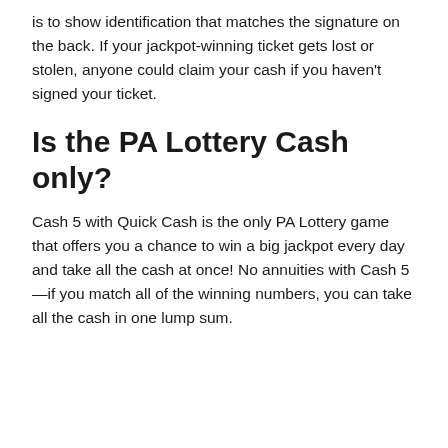is to show identification that matches the signature on the back. If your jackpot-winning ticket gets lost or stolen, anyone could claim your cash if you haven't signed your ticket.
Is the PA Lottery Cash only?
Cash 5 with Quick Cash is the only PA Lottery game that offers you a chance to win a big jackpot every day and take all the cash at once! No annuities with Cash 5—if you match all of the winning numbers, you can take all the cash in one lump sum.